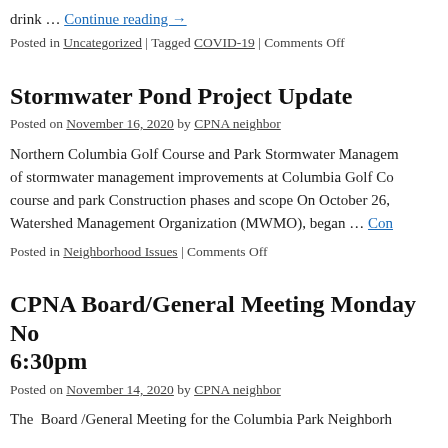drink … Continue reading →
Posted in Uncategorized | Tagged COVID-19 | Comments Off
Stormwater Pond Project Update
Posted on November 16, 2020 by CPNA neighbor
Northern Columbia Golf Course and Park Stormwater Management of stormwater management improvements at Columbia Golf Course and park Construction phases and scope On October 26, Watershed Management Organization (MWMO), began … Con
Posted in Neighborhood Issues | Comments Off
CPNA Board/General Meeting Monday No 6:30pm
Posted on November 14, 2020 by CPNA neighbor
The Board /General Meeting for the Columbia Park Neighborh